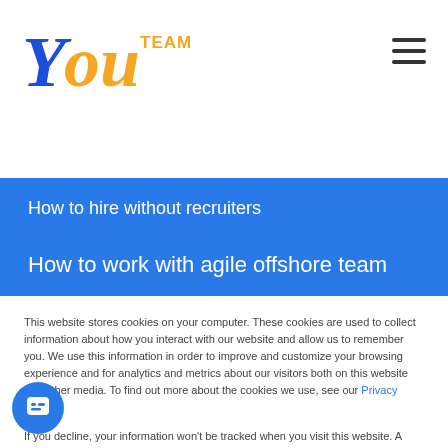[Figure (logo): YouTeam logo with 'You' in blue/orange italic script and 'TEAM' in orange uppercase]
[Figure (other): Hamburger menu icon (three horizontal lines)]
How to hire without recruiters
How to work with agile offshore team
This website stores cookies on your computer. These cookies are used to collect information about how you interact with our website and allow us to remember you. We use this information in order to improve and customize your browsing experience and for analytics and metrics about our visitors both on this website and other media. To find out more about the cookies we use, see our Privacy Policy.
If you decline, your information won't be tracked when you visit this website. A single cookie will be used in your browser to remember your preference not to be tracked.
[Figure (other): Accept button (orange background) and Decline button (orange outline)]